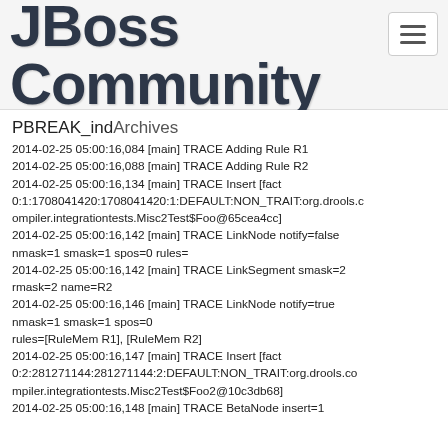JBoss Community
PBREAK_indexArchives
2014-02-25 05:00:16,084 [main] TRACE Adding Rule R1
2014-02-25 05:00:16,088 [main] TRACE Adding Rule R2
2014-02-25 05:00:16,134 [main] TRACE Insert [fact 0:1:1708041420:1708041420:1:DEFAULT:NON_TRAIT:org.drools.compiler.integrationtests.Misc2Test$Foo@65cea4cc]
2014-02-25 05:00:16,142 [main] TRACE LinkNode notify=false nmask=1 smask=1 spos=0 rules=
2014-02-25 05:00:16,142 [main] TRACE LinkSegment smask=2 rmask=2 name=R2
2014-02-25 05:00:16,146 [main] TRACE LinkNode notify=true nmask=1 smask=1 spos=0
rules=[RuleMem R1], [RuleMem R2]
2014-02-25 05:00:16,147 [main] TRACE Insert [fact 0:2:281271144:281271144:2:DEFAULT:NON_TRAIT:org.drools.compiler.integrationtests.Misc2Test$Foo2@10c3db68]
2014-02-25 05:00:16,148 [main] TRACE BetaNode insert=1